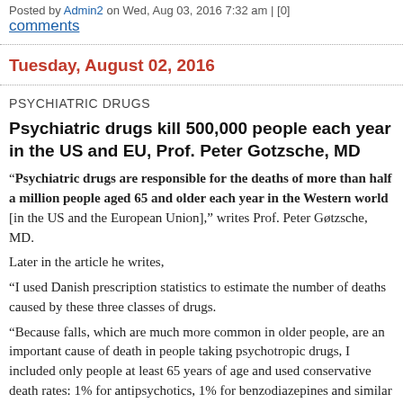Posted by Admin2 on Wed, Aug 03, 2016 7:32 am | [0] comments
Tuesday, August 02, 2016
PSYCHIATRIC DRUGS
Psychiatric drugs kill 500,000 people each year in the US and EU, Prof. Peter Gotzsche, MD
“Psychiatric drugs are responsible for the deaths of more than half a million people aged 65 and older each year in the Western world [in the US and the European Union],” writes Prof. Peter Gøtzsche, MD.
Later in the article he writes, “I used Danish prescription statistics to estimate the number of deaths caused by these three classes of drugs. “Because falls, which are much more common in older people, are an important cause of death in people taking psychotropic drugs, I included only people at least 65 years of age and used conservative death rates: 1% for antipsychotics, 1% for benzodiazepines and similar drugs, and only 2% for antidepressants. “The total number of deaths a year in Denmark (3693) when scaled up corresponded to 539,000 in the United